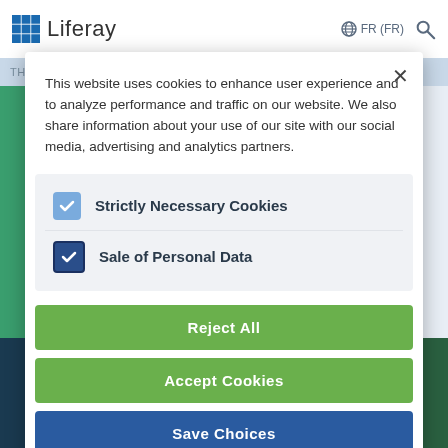Liferay  FR (FR)
This website uses cookies to enhance user experience and to analyze performance and traffic on our website. We also share information about your use of our site with our social media, advertising and analytics partners.
Strictly Necessary Cookies
Sale of Personal Data
Reject All
Accept Cookies
Save Choices